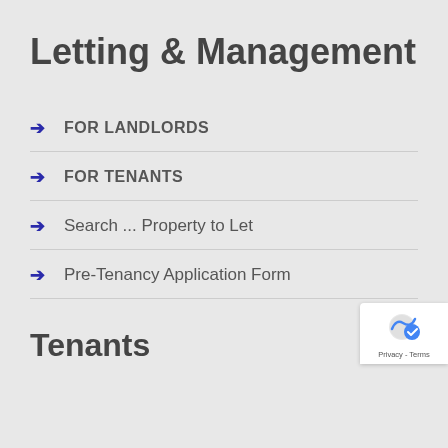Letting & Management
FOR LANDLORDS
FOR TENANTS
Search ... Property to Let
Pre-Tenancy Application Form
Tenants